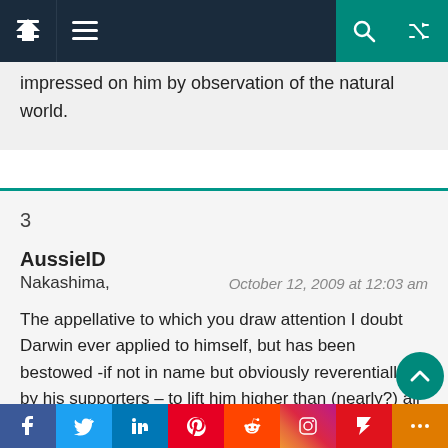Navigation bar with home, menu, search, and shuffle icons
impressed on him by observation of the natural world.
3
AussieID
Nakashima,
October 12, 2009 at 12:03 am
The appellative to which you draw attention I doubt Darwin ever applied to himself, but has been bestowed -if not in name but obviously reverentially by his supporters – to lift him higher than (nearly?) all
Social share buttons: Facebook, Twitter, LinkedIn, Pinterest, Reddit, Instagram, Flipboard, More